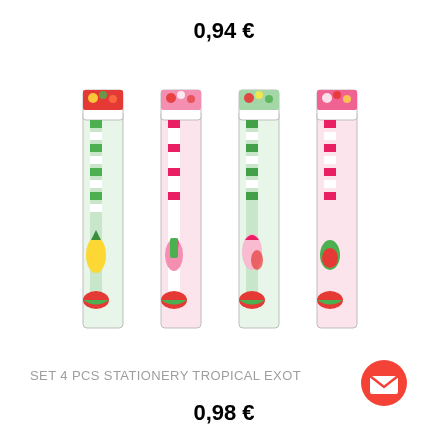0,94 €
[Figure (photo): Four packaged tropical/exotic themed stationery sets (pencils), each in a clear plastic bag with colorful fruit and tropical designs. Four distinct designs shown side by side.]
SET 4 PCS STATIONERY TROPICAL EXOT
0,98 €